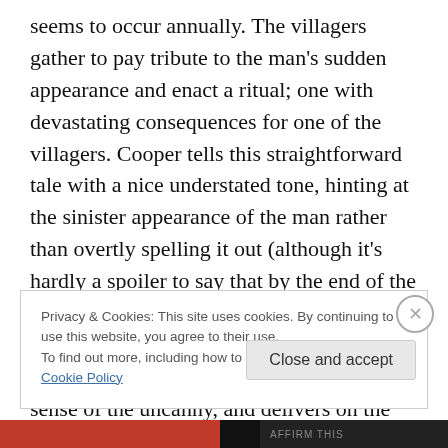seems to occur annually. The villagers gather to pay tribute to the man's sudden appearance and enact a ritual; one with devastating consequences for one of the villagers. Cooper tells this straightforward tale with a nice understated tone, hinting at the sinister appearance of the man rather than overtly spelling it out (although it's hardly a spoiler to say that by the end of the tale we are under no doubt about the mysterious figure's intentions). I really liked this story. It comes with a strong sense of the uncanny, and delivers on the promises it makes.
Privacy & Cookies: This site uses cookies. By continuing to use this website, you agree to their use.
To find out more, including how to control cookies, see here: Cookie Policy
Close and accept